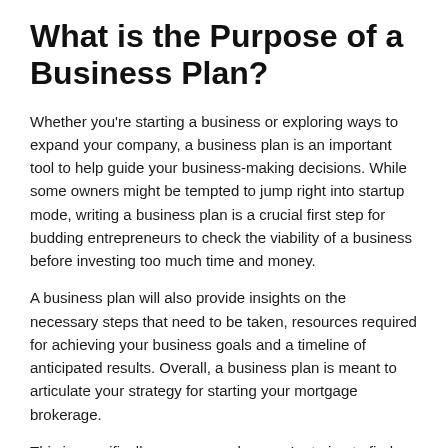What is the Purpose of a Business Plan?
Whether you’re starting a business or exploring ways to expand your company, a business plan is an important tool to help guide your business-making decisions. While some owners might be tempted to jump right into startup mode, writing a business plan is a crucial first step for budding entrepreneurs to check the viability of a business before investing too much time and money.
A business plan will also provide insights on the necessary steps that need to be taken, resources required for achieving your business goals and a timeline of anticipated results. Overall, a business plan is meant to articulate your strategy for starting your mortgage brokerage.
This is specifically necessary when you’re trying to find investors or partners who will provide financing for your business. Key partners will want to know everything from your marketing and financial to operational and production plans. This will help assure your business will eventually start generating revenue and they will be more successful.